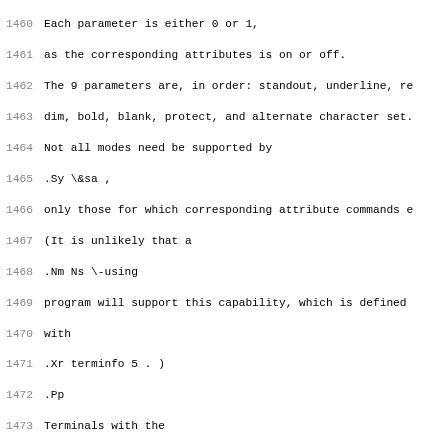1460 Each parameter is either 0 or 1,
1461 as the corresponding attributes is on or off.
1462 The 9 parameters are, in order: standout, underline, re
1463 dim, bold, blank, protect, and alternate character set.
1464 Not all modes need be supported by
1465 .Sy \&sa ,
1466 only those for which corresponding attribute commands e
1467 (It is unlikely that a
1468 .Nm Ns \-using
1469 program will support this capability, which is defined
1470 with
1471 .Xr terminfo 5 . )
1472 .Pp
1473 Terminals with the
1474 .Dq magic cookie
1475 glitches
1476 .Pf ( Sy \&sg
1477 and
1478 .Sy \&ug ) ,
1479 rather than maintaining extra attribute bits for each c
1480 instead deposit special
1481 .Dq cookies ,
1482 or
1483 .Dq garbage characters ,
1484 when they receive mode-setting sequences,
1485 which affect the display algorithm.
1486 .Pp
1487 Some terminals,
1488 such as the Hewlett-Packard 2621,
1489 automatically leave standout
1490 mode when they move to a new line or when the cursor is
1491 Programs using standout mode